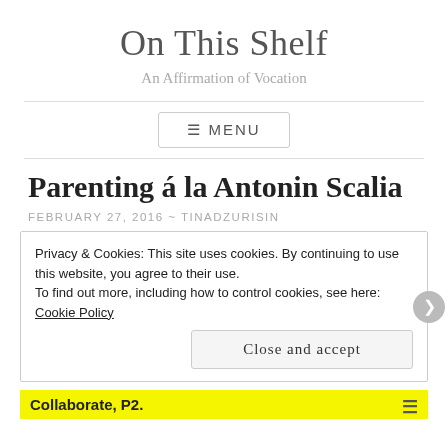On This Shelf
An Affirmation of Vocation
≡ MENU
Parenting á la Antonin Scalia
FEBRUARY 27, 2016 ~ TINADZURISIN
Privacy & Cookies: This site uses cookies. By continuing to use this website, you agree to their use.
To find out more, including how to control cookies, see here: Cookie Policy
Close and accept
Collaborate, P2.